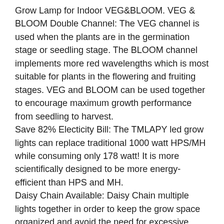Grow Lamp for Indoor VEG&BLOOM. VEG & BLOOM Double Channel: The VEG channel is used when the plants are in the germination stage or seedling stage. The BLOOM channel implements more red wavelengths which is most suitable for plants in the flowering and fruiting stages. VEG and BLOOM can be used together to encourage maximum growth performance from seedling to harvest.
Save 82% Electicity Bill: The TMLAPY led grow lights can replace traditional 1000 watt HPS/MH while consuming only 178 watt! It is more scientifically designed to be more energy-efficient than HPS and MH.
Daisy Chain Available: Daisy Chain multiple lights together in order to keep the grow space organized and avoid the need for excessive wiring. To ensure safety, not more than 5 lights together per chain. 2x Stainless Steel Hanger Hook. 2x Power Cord (Double Use for Daisy Chain).